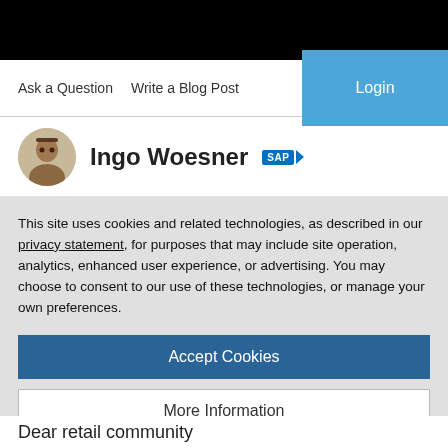Ask a Question   Write a Blog Post
Ingo Woesner SAP
This site uses cookies and related technologies, as described in our privacy statement, for purposes that may include site operation, analytics, enhanced user experience, or advertising. You may choose to consent to our use of these technologies, or manage your own preferences.
Accept Cookies
More Information
Privacy Policy | Powered by: TrustArc
Dear retail community